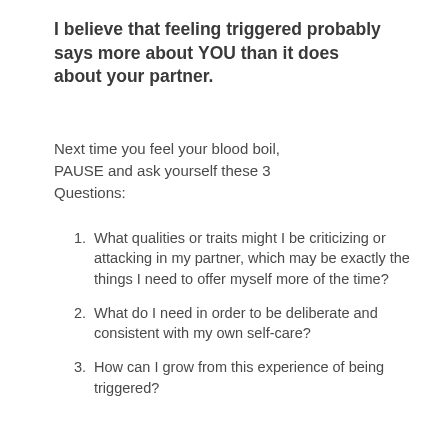I believe that feeling triggered probably says more about YOU than it does about your partner.
Next time you feel your blood boil, PAUSE and ask yourself these 3 Questions:
What qualities or traits might I be criticizing or attacking in my partner, which may be exactly the things I need to offer myself more of the time?
What do I need in order to be deliberate and consistent with my own self-care?
How can I grow from this experience of being triggered?